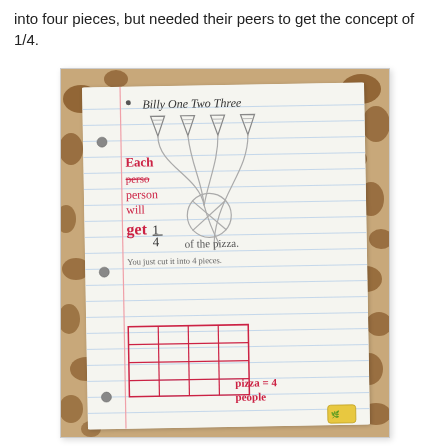into four pieces, but needed their peers to get the concept of 1/4.
[Figure (photo): A child's notebook page showing a math problem about fractions. Written in pencil and pink crayon: 'Billy One Two Three' with four pizza triangle drawings at the top, connected by curved lines to a bowl shape. Text reads 'Each perso (crossed out) person will get 1/4 of the pizza. You just cut it into 4 pieces.' A grid drawing at the bottom labeled 'pizza = 4 people'.]